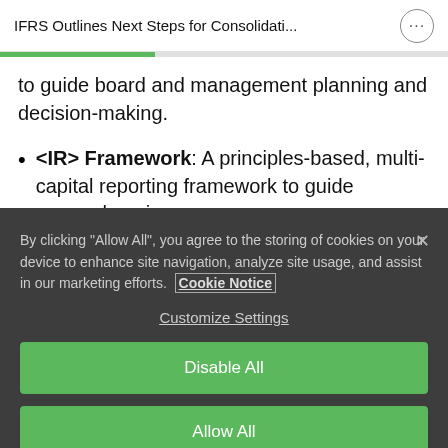IFRS Outlines Next Steps for Consolidati...
to guide board and management planning and decision-making.
<IR> Framework: A principles-based, multi-capital reporting framework to guide comprehensive
By clicking “Allow All”, you agree to the storing of cookies on your device to enhance site navigation, analyze site usage, and assist in our marketing efforts. Cookie Notice
Customize Settings
Disable All
Allow All